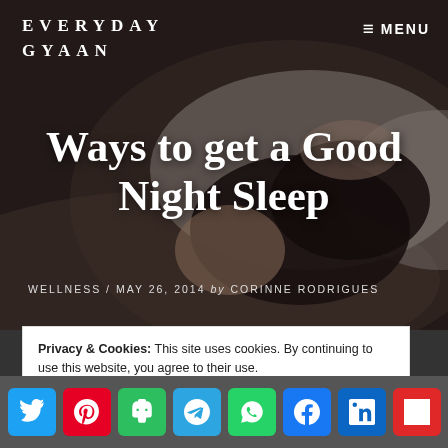[Figure (photo): Hero background image of a woman sleeping on white pillows with dark overlay, used as article header background for 'Ways to get a Good Night Sleep']
EVERYDAY GYAAN
≡ MENU
Ways to get a Good Night Sleep
WELLNESS / MAY 26, 2014 by CORINNE RODRIGUES
Privacy & Cookies: This site uses cookies. By continuing to use this website, you agree to their use.
To find out more, including how to control cookies, see here: Cookie Policy
[Figure (infographic): Social media share buttons row: Twitter (blue), Pinterest (red), Evernote (green), Telegram (blue), WhatsApp (green), Facebook (blue), LinkedIn (dark blue), Flipboard (red)]